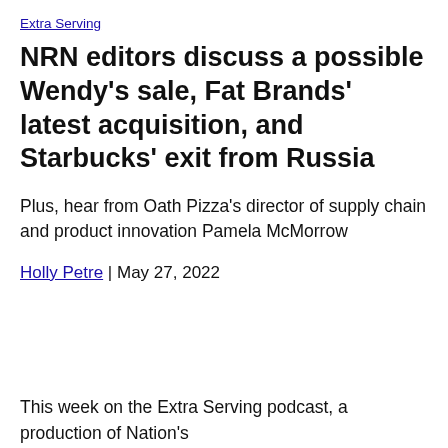Extra Serving
NRN editors discuss a possible Wendy’s sale, Fat Brands’ latest acquisition, and Starbucks’ exit from Russia
Plus, hear from Oath Pizza’s director of supply chain and product innovation Pamela McMorrow
Holly Petre | May 27, 2022
This week on the Extra Serving podcast, a production of Nation’s